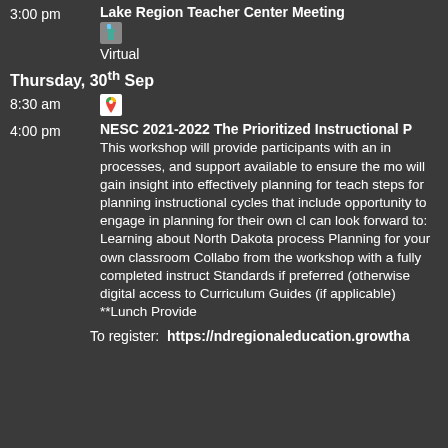3:00 pm — Lake Region Teacher Center Meeting
[icon] Virtual
Thursday, 30th Sep
8:30 am [icon]
4:00 pm — NESC 2021-2022 The Prioritized Instructional P
This workshop will provide participants with an in... processes, and support available to ensure the mo... will gain insight into effectively planning for teach... steps for planning instructional cycles that include... opportunity to engage in planning for their own cl... can look forward to: Learning about North Dakota... process Planning for your own classroom Collabo... from the workshop with a fully completed instruct... Standards if preferred (otherwise digital access to... Curriculum Guides (if applicable) **Lunch Provide...
To register:  https://ndregionaleducation.growtha...